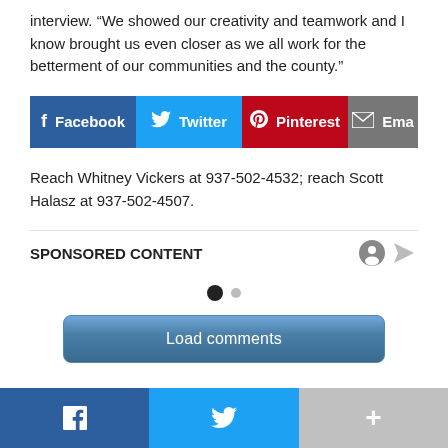interview. “We showed our creativity and teamwork and I know brought us even closer as we all work for the betterment of our communities and the county.”
[Figure (infographic): Social sharing bar with Facebook (blue), Twitter (cyan), Pinterest (red), and Email (gray) buttons]
Reach Whitney Vickers at 937-502-4532; reach Scott Halasz at 937-502-4507.
SPONSORED CONTENT
[Figure (infographic): Pagination dots: one large filled dot and one smaller gray dot]
[Figure (infographic): Load comments button]
Facebook | Twitter | More (+)